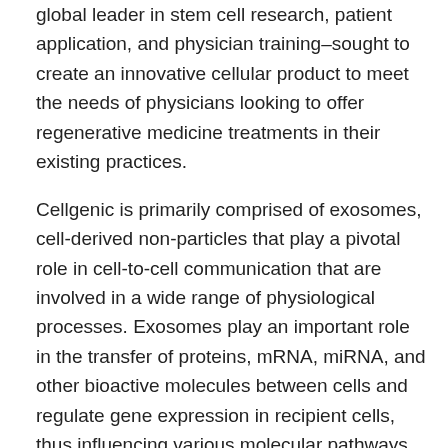global leader in stem cell research, patient application, and physician training–sought to create an innovative cellular product to meet the needs of physicians looking to offer regenerative medicine treatments in their existing practices.
Cellgenic is primarily comprised of exosomes, cell-derived non-particles that play a pivotal role in cell-to-cell communication that are involved in a wide range of physiological processes. Exosomes play an important role in the transfer of proteins, mRNA, miRNA, and other bioactive molecules between cells and regulate gene expression in recipient cells, thus influencing various molecular pathways.
An increasing amount of attention has been paid to exosomes in recent years thanks to the wide range